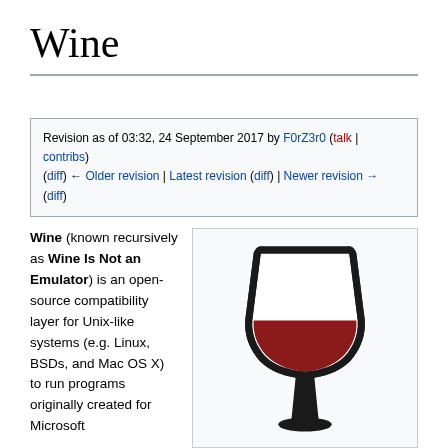Wine
Revision as of 03:32, 24 September 2017 by F0rZ3r0 (talk | contribs) (diff) ← Older revision | Latest revision (diff) | Newer revision → (diff)
Wine (known recursively as Wine Is Not an Emulator) is an open-source compatibility layer for Unix-like systems (e.g. Linux, BSDs, and Mac OS X) to run programs originally created for Microsoft
[Figure (illustration): Wine glass logo illustration showing a wine glass with red wine, black outline on light grey background]